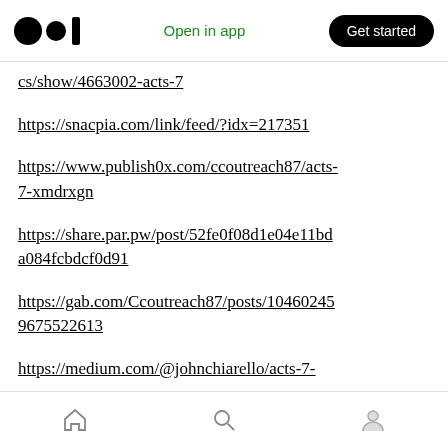Open in app | Get started
cs/show/4663002-acts-7
https://snacpia.com/link/feed/?idx=217351
https://www.publish0x.com/ccoutreach87/acts-7-xmdrxgn
https://share.par.pw/post/52fe0f08d1e04e11bda084fcbdcf0d91
https://gab.com/Ccoutreach87/posts/104602459675522613
https://medium.com/@johnchiarello/acts-7-
Home | Search | Profile